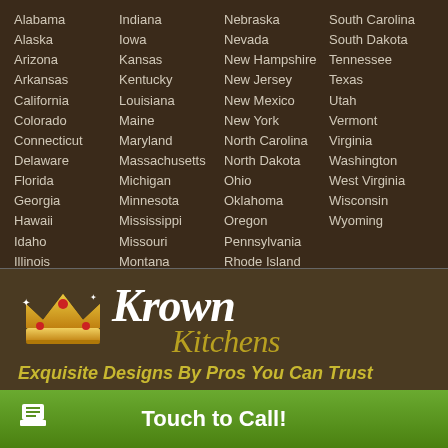Alabama, Alaska, Arizona, Arkansas, California, Colorado, Connecticut, Delaware, Florida, Georgia, Hawaii, Idaho, Illinois, Indiana, Iowa, Kansas, Kentucky, Louisiana, Maine, Maryland, Massachusetts, Michigan, Minnesota, Mississippi, Missouri, Montana, Nebraska, Nevada, New Hampshire, New Jersey, New Mexico, New York, North Carolina, North Dakota, Ohio, Oklahoma, Oregon, Pennsylvania, Rhode Island, South Carolina, South Dakota, Tennessee, Texas, Utah, Vermont, Virginia, Washington, West Virginia, Wisconsin, Wyoming
[Figure (logo): Krown Kitchens logo with golden crown icon and stylized text]
Exquisite Designs By Pros You Can Trust
Touch to Call!